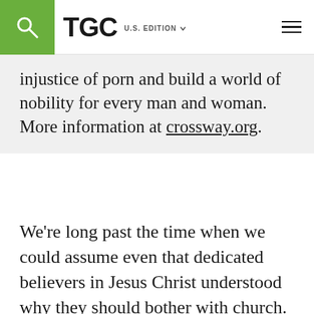TGC U.S. EDITION
injustice of porn and build a world of nobility for every man and woman. More information at crossway.org.
We're long past the time when we could assume even that dedicated believers in Jesus Christ understood why they should bother with church. The number who identify as Christians is far larger than the number who attend a weekly meeting. Even then, the bulk of the serving and giving in our churches tends to be done by only a few. So it's not as if COVID-19 suddenly convinced Christians